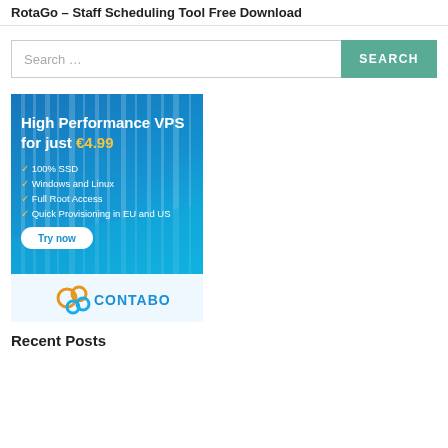RotaGo – Staff Scheduling Tool Free Download
Search …
[Figure (infographic): Contabo VPS advertisement banner. Blue gradient background with text: 'High Performance VPS for just €4.99', checkmarks listing '100% SSD', 'Windows and Linux', 'Full Root Access', 'Quick Provisioning in EU and US', a 'Try now' button, and CONTABO logo at bottom.]
Recent Posts